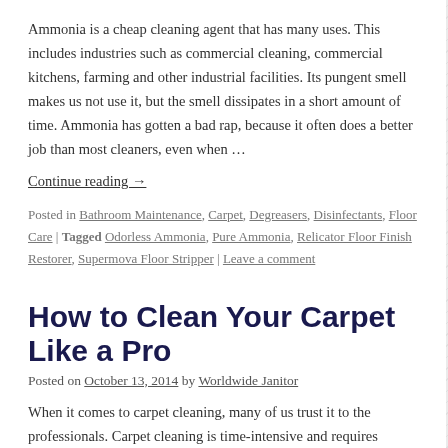Ammonia is a cheap cleaning agent that has many uses. This includes industries such as commercial cleaning, commercial kitchens, farming and other industrial facilities. Its pungent smell makes us not use it, but the smell dissipates in a short amount of time. Ammonia has gotten a bad rap, because it often does a better job than most cleaners, even when …
Continue reading →
Posted in Bathroom Maintenance, Carpet, Degreasers, Disinfectants, Floor Care | Tagged Odorless Ammonia, Pure Ammonia, Relicator Floor Finish Restorer, Supermova Floor Stripper | Leave a comment
How to Clean Your Carpet Like a Pro
Posted on October 13, 2014 by Worldwide Janitor
When it comes to carpet cleaning, many of us trust it to the professionals. Carpet cleaning is time-intensive and requires specialized equipment. There are a lot of things to consider: you must protect your furniture, make sure that you're using the correct chemicals, and plan ahead so that you can allow time for the carpet to dry after cleaning if… Continue reading →